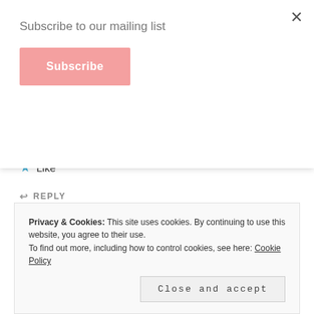Subscribe to our mailing list
Subscribe
amazing for me! I wish it was more affordable too, I would buy everything 😊
★ Like
↩ REPLY
review on that soon 🙂
Privacy & Cookies: This site uses cookies. By continuing to use this website, you agree to their use.
To find out more, including how to control cookies, see here: Cookie Policy
Close and accept